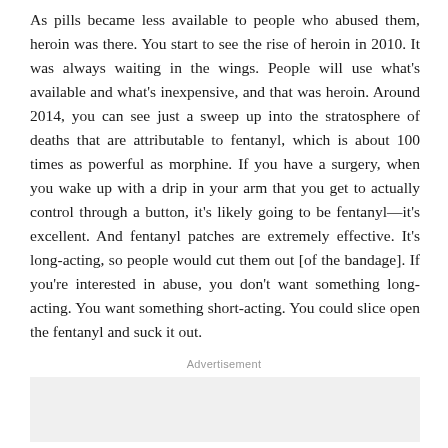As pills became less available to people who abused them, heroin was there. You start to see the rise of heroin in 2010. It was always waiting in the wings. People will use what's available and what's inexpensive, and that was heroin. Around 2014, you can see just a sweep up into the stratosphere of deaths that are attributable to fentanyl, which is about 100 times as powerful as morphine. If you have a surgery, when you wake up with a drip in your arm that you get to actually control through a button, it's likely going to be fentanyl—it's excellent. And fentanyl patches are extremely effective. It's long-acting, so people would cut them out [of the bandage]. If you're interested in abuse, you don't want something long-acting. You want something short-acting. You could slice open the fentanyl and suck it out.
Advertisement
[Figure (other): Advertisement placeholder box with light gray background]